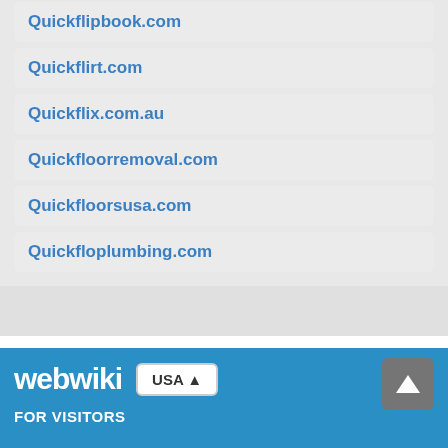Quickflipbook.com
Quickflirt.com
Quickflix.com.au
Quickfloorremoval.com
Quickfloorsusa.com
Quickfloplumbing.com
webwiki  USA  FOR VISITORS